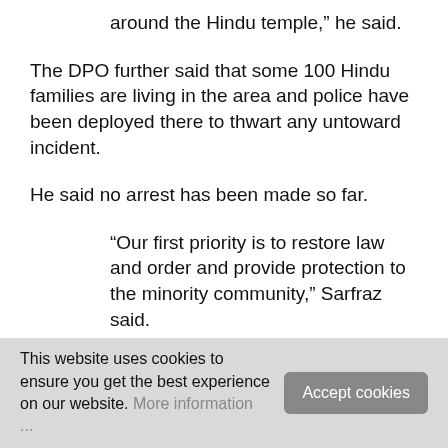around the Hindu temple,” he said.
The DPO further said that some 100 Hindu families are living in the area and police have been deployed there to thwart any untoward incident.
He said no arrest has been made so far.
“Our first priority is to restore law and order and provide protection to the minority community,” Sarfraz said.
Another police official said the temple has been
This website uses cookies to ensure you get the best experience on our website. More information ...